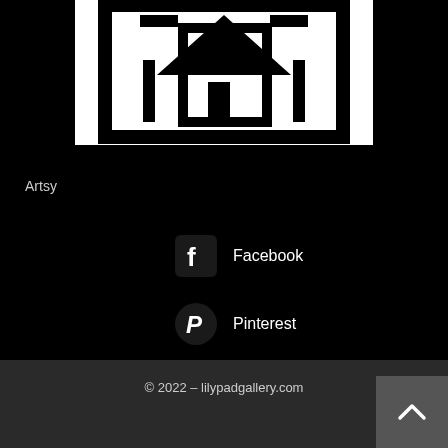[Figure (logo): Artsy logo — white building/artwork icon on white background with black border frame]
Artsy
[Figure (logo): Facebook icon — rounded square with white 'f' on dark background]
Facebook
[Figure (logo): Pinterest icon — circle with white 'P' on dark background]
Pinterest
© 2022 – lilypadgallery.com